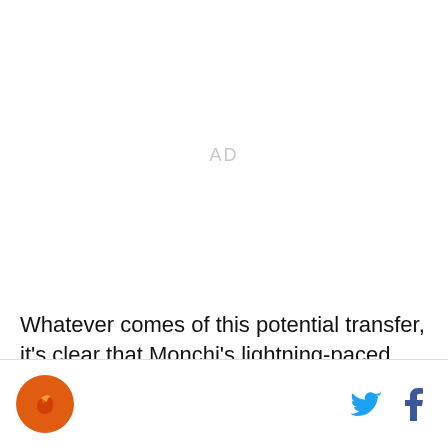[Figure (other): Advertisement placeholder area with 'AD' text in light gray]
Whatever comes of this potential transfer, it's clear that Monchi's lightning-paced transfer window isn't
Site logo icon, Twitter bird icon, Facebook f icon